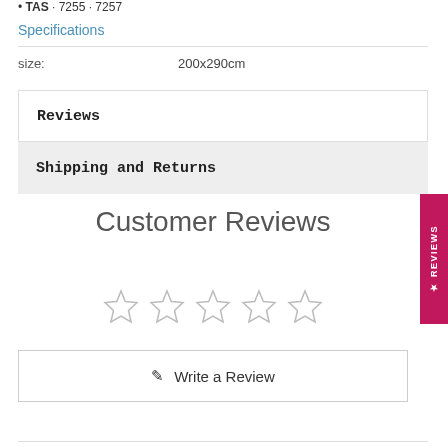TAS · 7255 · 7257
Specifications
| size: | 200x290cm |
| --- | --- |
Reviews
Shipping and Returns
Customer Reviews
[Figure (other): Five empty star rating icons in a row]
✎ Write a Review